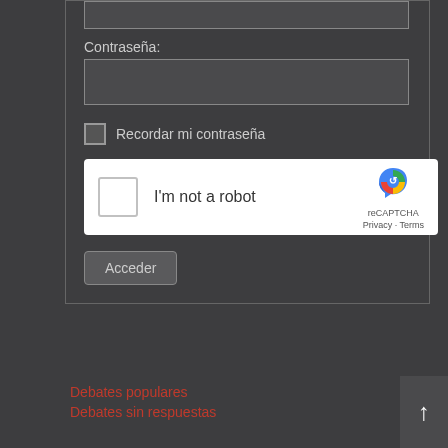[Figure (screenshot): Top portion of a login form input field (partially visible at top)]
Contraseña:
[Figure (screenshot): Password input field (empty text box)]
Recordar mi contraseña
[Figure (screenshot): reCAPTCHA widget with 'I'm not a robot' checkbox, reCAPTCHA logo, Privacy and Terms links]
Acceder
Debates populares
Debates sin respuestas